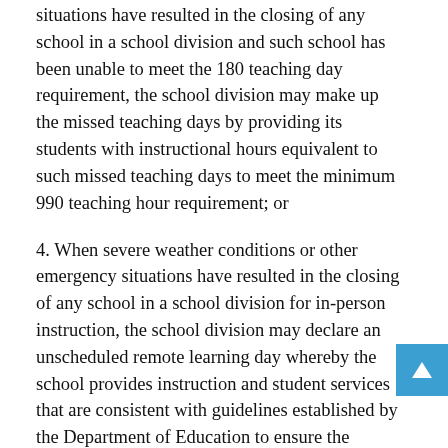situations have resulted in the closing of any school in a school division and such school has been unable to meet the 180 teaching day requirement, the school division may make up the missed teaching days by providing its students with instructional hours equivalent to such missed teaching days to meet the minimum 990 teaching hour requirement; or
4. When severe weather conditions or other emergency situations have resulted in the closing of any school in a school division for in-person instruction, the school division may declare an unscheduled remote learning day whereby the school provides instruction and student services that are consistent with guidelines established by the Department of Education to ensure the equitable provision of such services. No school division shall claim more than 10 unscheduled remote learning days in a school year unless the Superintendent of Public Instruction grants an extension.
D. The local appropriations for educational purposes